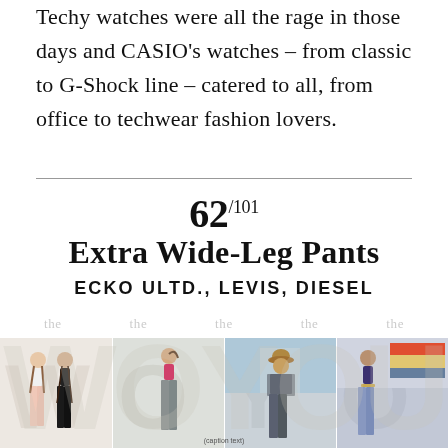Techy watches were all the rage in those days and CASIO's watches – from classic to G-Shock line – catered to all, from office to techwear fashion lovers.
62/101
Extra Wide-Leg Pants
ECKO ULTD., LEVIS, DIESEL
[Figure (photo): Four photos of models wearing extra wide-leg pants from brands Ecko Ultd., Levis, and Diesel. Images show various styles of wide-leg pants in pink, dark, grey, and blue tones, worn by young women in different poses and settings.]
(small caption text at bottom of images)